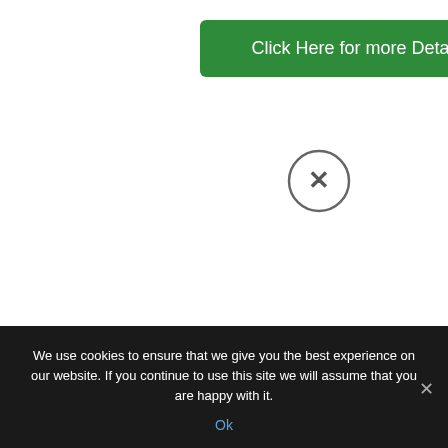[Figure (other): Green button with white text reading 'Click Here for more Details']
[Figure (other): Circle with X close button icon]
Remedial Treatments
The treatments in this section are natures ointments and remedies that go back centuries. Some you will recognise, some will be new to
We use cookies to ensure that we give you the best experience on our website. If you continue to use this site we will assume that you are happy with it. Ok